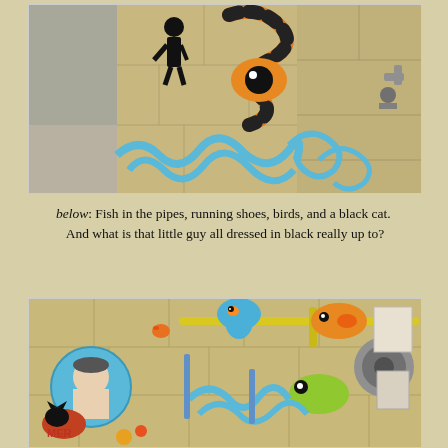[Figure (photo): Street art mural on stone wall showing colorful figures including a person dressed in black, an orange and black snake, a large orange eye, and blue swirling tentacles or water shapes.]
below: Fish in the pipes, running shoes, birds, and a black cat.  And what is that little guy all dressed in black really up to?
[Figure (photo): Detailed street art mural on stone wall showing fish in pipes, colorful birds, a blue-circled portrait of a man, cats, fish in water, and various whimsical graffiti elements.]